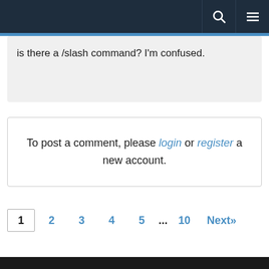Navigation bar with search and menu icons
is there a /slash command? I'm confused.
To post a comment, please login or register a new account.
1 2 3 4 5 ... 10 Next»